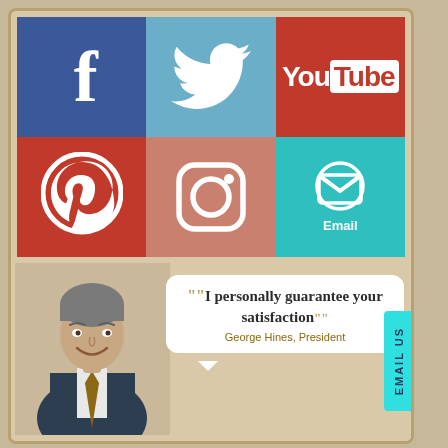[Figure (infographic): Social media icons grid: Facebook (blue), Twitter (light blue), YouTube (red), Pinterest (red), Instagram (pinkish-red), Email (teal) arranged in 2 rows of 3]
[Figure (photo): Portrait photo of a middle-aged man in a suit smiling, next to a speech bubble quote]
"I personally guarantee your satisfaction" George Hines, President
EMAIL US